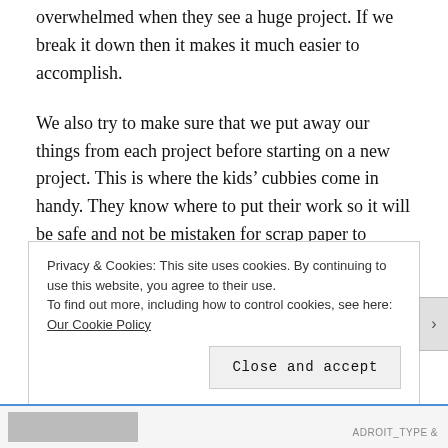overwhelmed when they see a huge project. If we break it down then it makes it much easier to accomplish.
We also try to make sure that we put away our things from each project before starting on a new project. This is where the kids’ cubbies come in handy. They know where to put their work so it will be safe and not be mistaken for scrap paper to become part of someone else’s latest art masterpiece.
I’ve also been experimenting with loop schedules for our school work and I’ll try to get a post done so I can explain how this works
Privacy & Cookies: This site uses cookies. By continuing to use this website, you agree to their use.
To find out more, including how to control cookies, see here: Our Cookie Policy
Close and accept